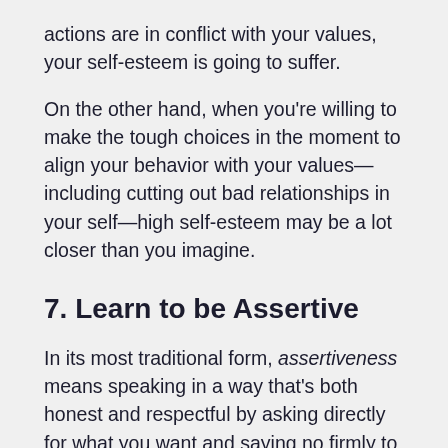actions are in conflict with your values, your self-esteem is going to suffer.
On the other hand, when you're willing to make the tough choices in the moment to align your behavior with your values—including cutting out bad relationships in your self—high self-esteem may be a lot closer than you imagine.
7. Learn to be Assertive
In its most traditional form, assertiveness means speaking in a way that's both honest and respectful by asking directly for what you want and saying no firmly to what you don't want.
Assertiveness communication is the healthy alternative...